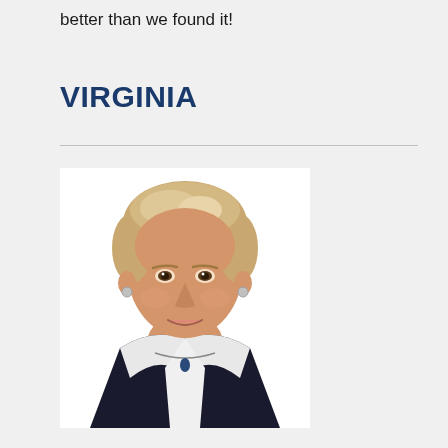better than we found it!
VIRGINIA
[Figure (photo): Professional headshot of a middle-aged woman with short blonde hair, smiling, wearing a dark navy blazer with white trim and a pendant necklace, photographed against a white background.]